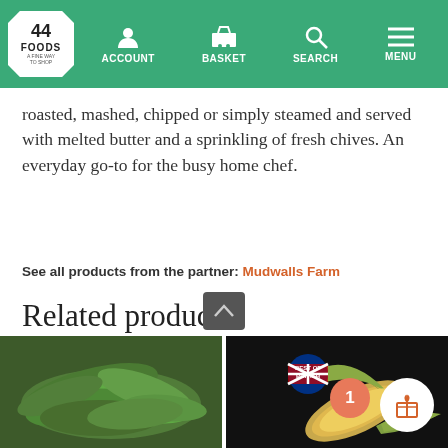44 FOODS — ACCOUNT BASKET SEARCH MENU
roasted, mashed, chipped or simply steamed and served with melted butter and a sprinkling of fresh chives. An everyday go-to for the busy home chef.
See all products from the partner: Mudwalls Farm
Related products
[Figure (photo): Green snap peas / mangetout piled on a dark background]
[Figure (photo): Corn on the cob with 'Best of British' badge on dark background]